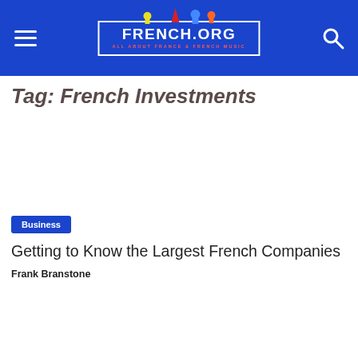FRENCH.ORG — All About France & French Music
Tag: French Investments
Business
Getting to Know the Largest French Companies
Frank Branstone